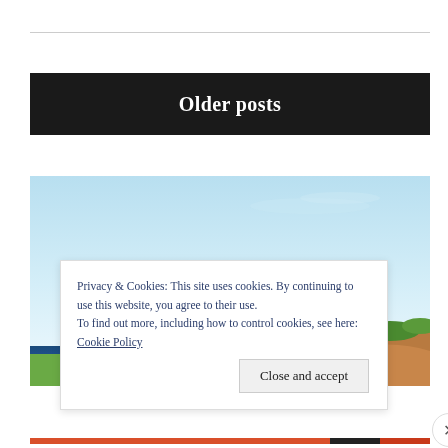Older posts
[Figure (photo): Landscape photograph showing a light blue sky taking up most of the frame, with a dark blue horizontal band (water or road) in the lower portion, and green vegetation/cliffs visible in the lower right corner.]
Privacy & Cookies: This site uses cookies. By continuing to use this website, you agree to their use.
To find out more, including how to control cookies, see here: Cookie Policy
Close and accept